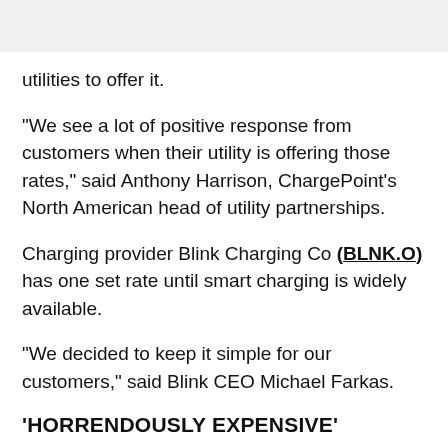utilities to offer it.
"We see a lot of positive response from customers when their utility is offering those rates," said Anthony Harrison, ChargePoint's North American head of utility partnerships.
Charging provider Blink Charging Co (BLNK.O) has one set rate until smart charging is widely available.
"We decided to keep it simple for our customers," said Blink CEO Michael Farkas.
'HORRENDOUSLY EXPENSIVE'
Bi... charging may be crucial